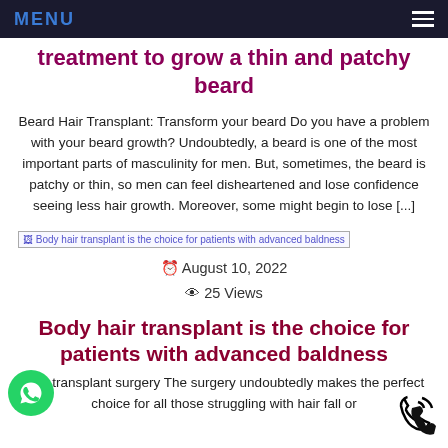MENU
treatment to grow a thin and patchy beard
Beard Hair Transplant: Transform your beard Do you have a problem with your beard growth? Undoubtedly, a beard is one of the most important parts of masculinity for men. But, sometimes, the beard is patchy or thin, so men can feel disheartened and lose confidence seeing less hair growth. Moreover, some might begin to lose [...]
[Figure (other): Broken image placeholder for 'Body hair transplant is the choice for patients with advanced baldness']
August 10, 2022
25 Views
Body hair transplant is the choice for patients with advanced baldness
Hair transplant surgery The surgery undoubtedly makes the perfect choice for all those struggling with hair fall or